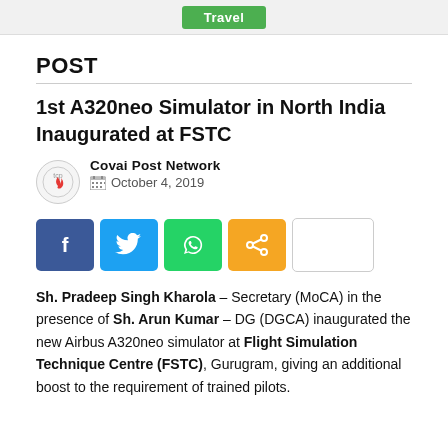Travel
POST
1st A320neo Simulator in North India Inaugurated at FSTC
Covai Post Network
October 4, 2019
[Figure (infographic): Social share buttons: Facebook, Twitter, WhatsApp, Share, and a blank button]
Sh. Pradeep Singh Kharola – Secretary (MoCA) in the presence of Sh. Arun Kumar – DG (DGCA) inaugurated the new Airbus A320neo simulator at Flight Simulation Technique Centre (FSTC), Gurugram, giving an additional boost to the requirement of trained pilots.